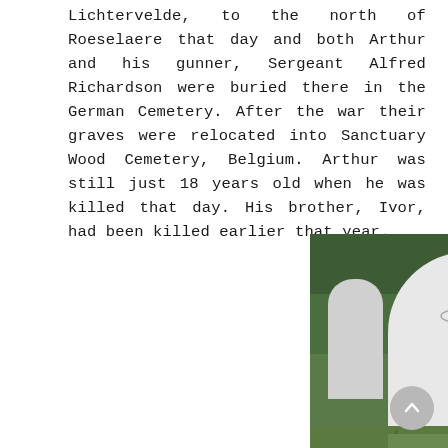Lichtervelde, to the north of Roeselaere that day and both Arthur and his gunner, Sergeant Alfred Richardson were buried there in the German Cemetery. After the war their graves were relocated into Sanctuary Wood Cemetery, Belgium. Arthur was still just 18 years old when he was killed that day. His brother, Ivor, had been killed earlier that year.
[Figure (photo): Photograph of a white Commonwealth War Graves Commission headstone with RAF roundel emblem carved near the top, cross carved lower down, and inscribed text below the emblem. The headstone stands in a cemetery with green grass and trees visible in the background. Other headstones partially visible behind.]